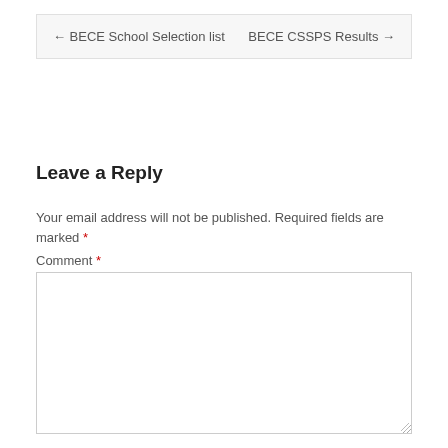← BECE School Selection list    BECE CSSPS Results →
Leave a Reply
Your email address will not be published. Required fields are marked *
Comment *